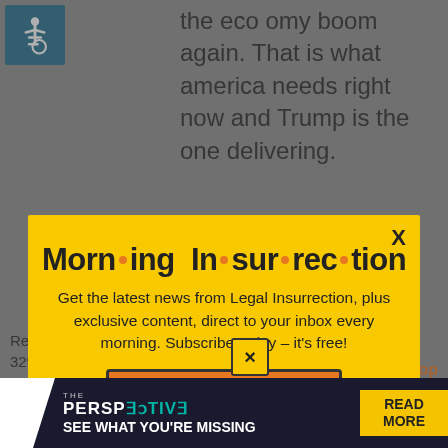[Figure (logo): Accessibility wheelchair icon in teal/blue square]
the eco omy boom again. That is what america needs right now and Trump is the one delivering.
[Figure (infographic): Morning Insurrection newsletter subscription modal popup on yellow background with orange dots between words. Contains text: Get the latest news from Legal Insurrection, plus exclusive content, direct to your inbox every morning. Subscribe today – it's free! JOIN NOW button.]
Republican is 28% support for Carson is, 32%...
[Figure (screenshot): Bottom banner ad: THE PERSPECTIVE - SEE WHAT YOU'RE MISSING - READ MORE]
Marco Rubio comes third at 1 in the...